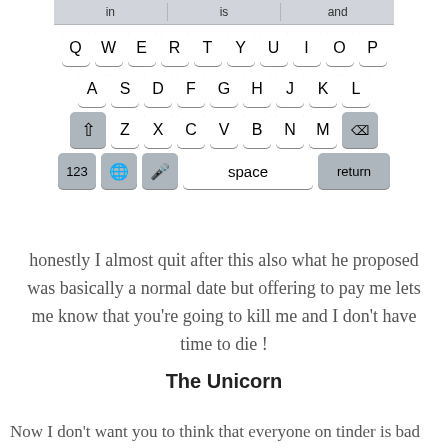[Figure (screenshot): iOS keyboard screenshot showing autocomplete bar with 'in', 'is', 'and', QWERTY layout rows, shift and delete keys, and bottom row with 123, globe, mic, space, and return keys.]
honestly I almost quit after this also what he proposed was basically a normal date but offering to pay me lets me know that you're going to kill me and I don't have time to die !
The Unicorn
Now I don't want you to think that everyone on tinder is bad